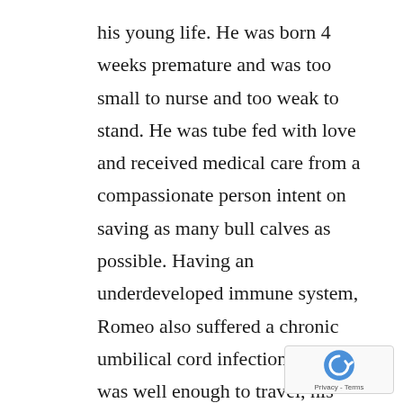his young life. He was born 4 weeks premature and was too small to nurse and too weak to stand. He was tube fed with love and received medical care from a compassionate person intent on saving as many bull calves as possible. Having an underdeveloped immune system, Romeo also suffered a chronic umbilical cord infection. When he was well enough to travel, his temporary caretaker brought him to Safe Haven. When Romeo arrived at the sanctuary in September of 2021, he weighed just 50 pounds. He is in a safe place and receiving all the medical treatment and nutrition he needs to recover.  T sweet heart shape on his forehead makes us m